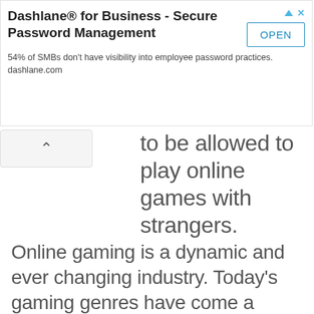[Figure (other): Advertisement banner for Dashlane for Business - Secure Password Management with an OPEN button]
to be allowed to play online games with strangers.
Online gaming is a dynamic and ever changing industry. Today's gaming genres have come a long way since the early days of Atari consoles